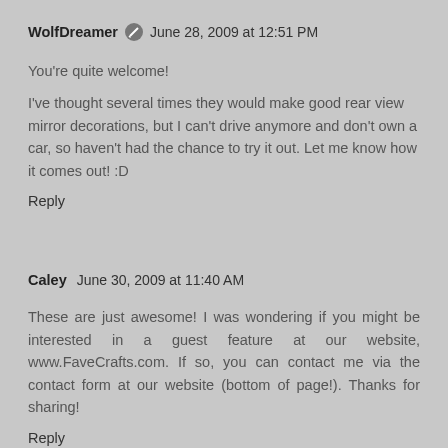WolfDreamer [edit icon] June 28, 2009 at 12:51 PM
You're quite welcome!
I've thought several times they would make good rear view mirror decorations, but I can't drive anymore and don't own a car, so haven't had the chance to try it out. Let me know how it comes out! :D
Reply
Caley  June 30, 2009 at 11:40 AM
These are just awesome! I was wondering if you might be interested in a guest feature at our website, www.FaveCrafts.com. If so, you can contact me via the contact form at our website (bottom of page!). Thanks for sharing!
Reply